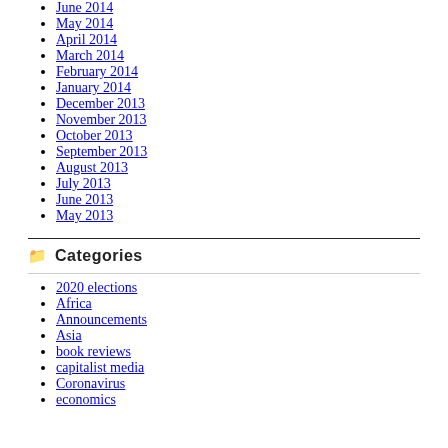June 2014
May 2014
April 2014
March 2014
February 2014
January 2014
December 2013
November 2013
October 2013
September 2013
August 2013
July 2013
June 2013
May 2013
Categories
2020 elections
Africa
Announcements
Asia
book reviews
capitalist media
Coronavirus
economics